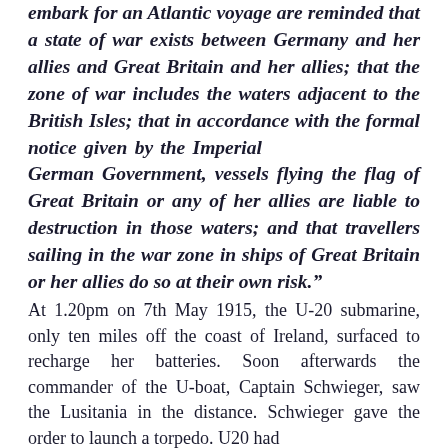embark for an Atlantic voyage are reminded that a state of war exists between Germany and her allies and Great Britain and her allies; that the zone of war includes the waters adjacent to the British Isles; that in accordance with the formal notice given by the Imperial German Government, vessels flying the flag of Great Britain or any of her allies are liable to destruction in those waters; and that travellers sailing in the war zone in ships of Great Britain or her allies do so at their own risk."
At 1.20pm on 7th May 1915, the U-20 submarine, only ten miles off the coast of Ireland, surfaced to recharge her batteries. Soon afterwards the commander of the U-boat, Captain Schwieger, saw the Lusitania in the distance. Schwieger gave the order to launch a torpedo. U20 had